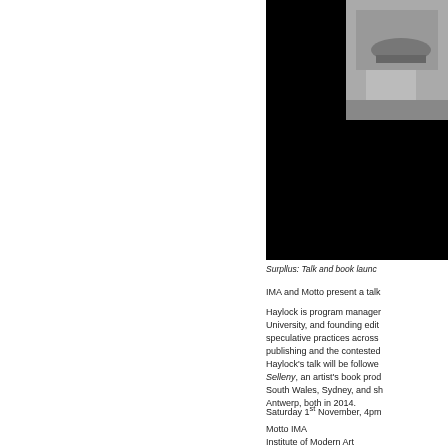[Figure (photo): Black and white photograph partially visible in the upper right, showing a grayscale image against a black background.]
Surpllus: Talk and book launc
IMA and Motto present a talk
Haylock is program manager University, and founding edit speculative practices across publishing and the contested
Haylock’s talk will be followe Selleny, an artist’s book prod South Wales, Sydney, and sh Antwerp, both in 2014.
Saturday 1st November, 4pm
Motto IMA
Institute of Modern Art
Ground Floor, Judith Wright C